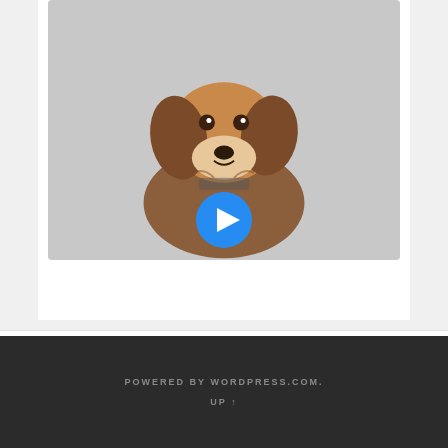[Figure (photo): A beagle dog looking upward, photographed against a light gray background, with a blue circular play button overlay at the bottom center of the image.]
ARCHIVES
Select Month
POWERED BY WORDPRESS.COM. UP ↑